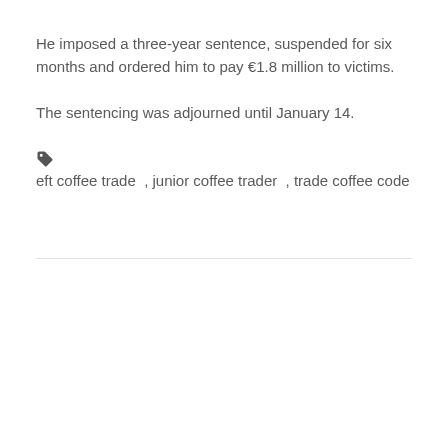He imposed a three-year sentence, suspended for six months and ordered him to pay €1.8 million to victims.
The sentencing was adjourned until January 14.
🏷 eft coffee trade , junior coffee trader , trade coffee code